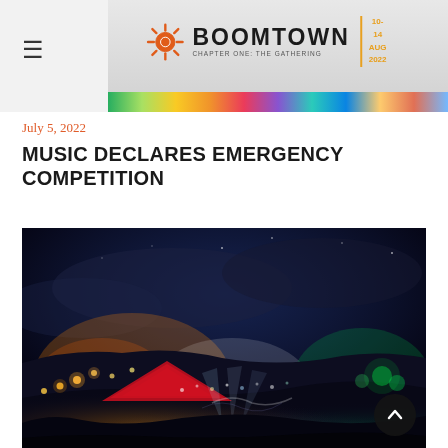Boomtown Chapter One: The Gathering — 10-14 AUG 2022
July 5, 2022
MUSIC DECLARES EMERGENCY COMPETITION
[Figure (photo): Aerial night-time photograph of Boomtown festival site showing colorful stage lights, a large red tent, and crowds across a wide landscape under a dramatic dark sky]